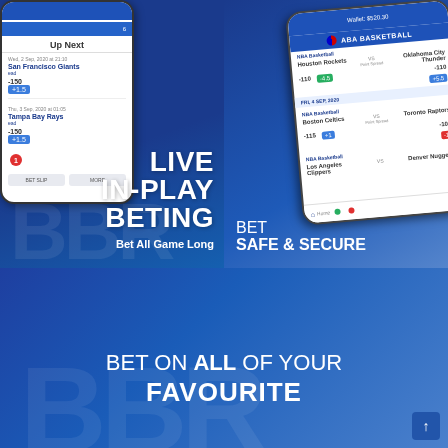[Figure (screenshot): Left panel: Mobile app screenshot showing sports betting interface with 'Up Next' section listing San Francisco Giants (-150, +1.5) and Tampa Bay Rays (-150, +1.5), on a blue gradient background with white text overlay reading 'LIVE IN-PLAY BETING' and 'Bet All Game Long']
[Figure (screenshot): Right panel: Mobile app screenshot showing NBA Basketball betting interface with Houston Rockets vs Oklahoma City Thunder and Boston Celtics vs Toronto Raptors matchups, on a blue gradient background with text 'BET SAFE & SECURE']
[Figure (screenshot): Bottom panel: Blue gradient background with white text 'BET ON ALL OF YOUR FAVOURITE' partially visible, with a scroll-up arrow button in the bottom right corner]